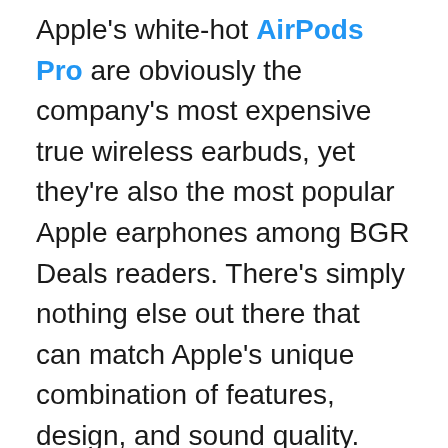Apple's white-hot AirPods Pro are obviously the company's most expensive true wireless earbuds, yet they're also the most popular Apple earphones among BGR Deals readers. There's simply nothing else out there that can match Apple's unique combination of features, design, and sound quality. Plus, they pack great noise cancellation tech that can really help you ignore the outside world while listening to music or streaming your favorite podcast.
The problem for many people is that AirPods Pro are quite pricey at $249. Thankfully, Amazon has been running a sale for the past couple of weeks that slash them to just $199.99. That's a great...